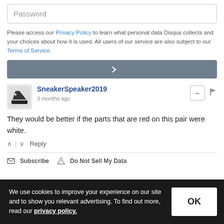Password
Please access our Privacy Policy to learn what personal data Disqus collects and your choices about how it is used. All users of our service are also subject to our Terms of Service.
[Figure (other): Gray button with right arrow icon for form submission]
SneakerSpeaker2019
3 months ago
They would be better if the parts that are red on this pair were white.
Reply
Subscribe  Do Not Sell My Data
We use cookies to improve your experience on our site and to show you relevant advertising. To find out more, read our privacy policy.